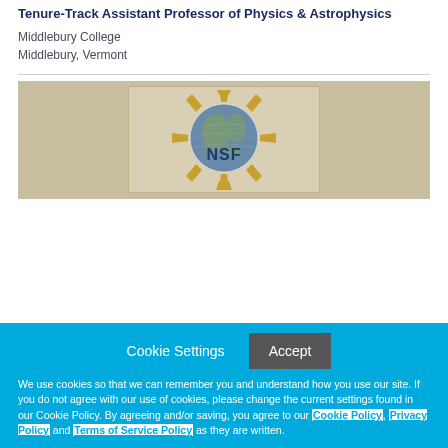Tenure-Track Assistant Professor of Physics & Astrophysics
Middlebury College
Middlebury, Vermont
[Figure (logo): NSF (National Science Foundation) logo — globe with gear-like sunburst ring and NSF letters, displayed inside a beige/tan framed box]
Cookie Settings   Accept

We use cookies so that we can remember you and understand how you use our site. If you do not agree with our use of cookies, please change the current settings found in our Cookie Policy. By agreeing and/or saving, you agree to our Cookie Policy, Privacy Policy and Terms of Service Policy as they are written.